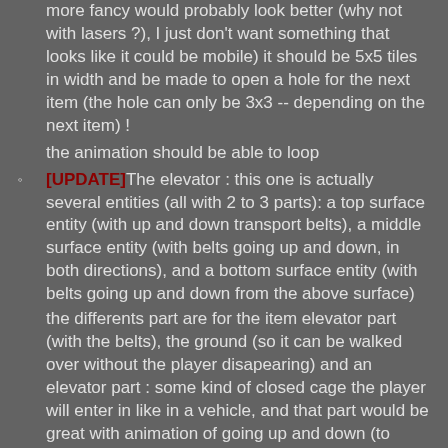more fancy would probably look better (why not with lasers ?), I just don't want something that looks like it could be mobile) it should be 5x5 tiles in width and be made to open a hole for the next item (the hole can only be 3x3 -- depending on the next item) !
the animation should be able to loop
[UPDATE]The elevator : this one is actually several entities (all with 2 to 3 parts): a top surface entity (with up and down transport belts), a middle surface entity (with belts going up and down, in both directions), and a bottom surface entity (with belts going up and down from the above surface)
the differents part are for the item elevator part (with the belts), the ground (so it can be walked over without the player disapearing) and an elevator part : some kind of closed cage the player will enter in like in a vehicle, and that part would be great with animation of going up and down (to animate the elevator going underground)